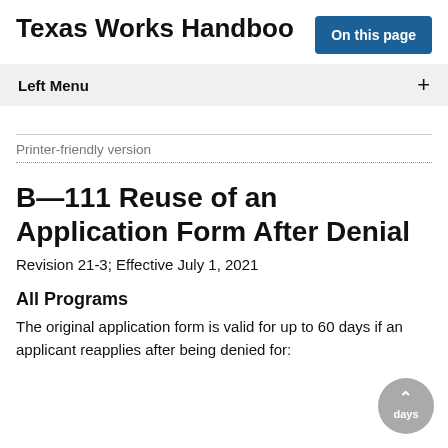Texas Works Handbook
On this page
Left Menu
Printer-friendly version
B—111 Reuse of an Application Form After Denial
Revision 21-3; Effective July 1, 2021
All Programs
The original application form is valid for up to 60 days if an applicant reapplies after being denied for: